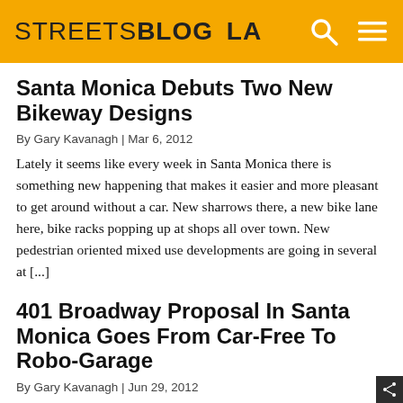STREETSBLOG LA
Santa Monica Debuts Two New Bikeway Designs
By Gary Kavanagh | Mar 6, 2012
Lately it seems like every week in Santa Monica there is something new happening that makes it easier and more pleasant to get around without a car. New sharrows there, a new bike lane here, bike racks popping up at shops all over town. New pedestrian oriented mixed use developments are going in several at [...]
401 Broadway Proposal In Santa Monica Goes From Car-Free To Robo-Garage
By Gary Kavanagh | Jun 29, 2012
Last week I started a multiple part series on traffic, and the myths that surround it in Santa Monica, promising a part 2. That is still coming, but I am holding it for next week's